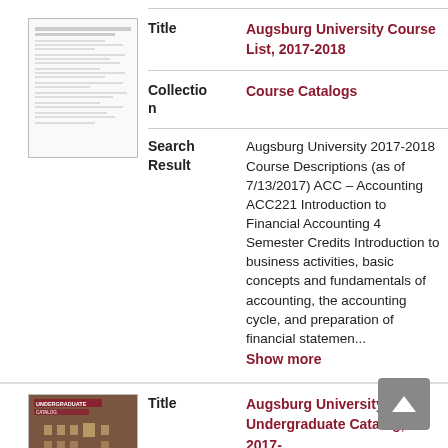[Figure (screenshot): Thumbnail of course list document (text lines on white background)]
| Title | Augsburg University Course List, 2017-2018 |
| Collection | Course Catalogs |
| Search Result | Augsburg University 2017-2018 Course Descriptions (as of 7/13/2017) ACC – Accounting ACC221 Introduction to Financial Accounting 4 Semester Credits Introduction to business activities, basic concepts and fundamentals of accounting, the accounting cycle, and preparation of financial statemen... Show more |
[Figure (photo): Thumbnail of Augsburg University Undergraduate Catalog book cover (red/brown building photo)]
| Title | Augsburg University Undergraduate Catalog, 2017- |